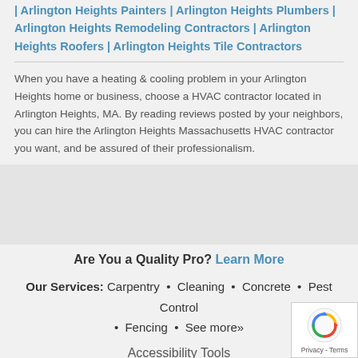| Arlington Heights Painters | Arlington Heights Plumbers | Arlington Heights Remodeling Contractors | Arlington Heights Roofers | Arlington Heights Tile Contractors
When you have a heating & cooling problem in your Arlington Heights home or business, choose a HVAC contractor located in Arlington Heights, MA. By reading reviews posted by your neighbors, you can hire the Arlington Heights Massachusetts HVAC contractor you want, and be assured of their professionalism.
Are You a Quality Pro? Learn More
Our Services: Carpentry • Cleaning • Concrete • Pest Control • Fencing • See more»
Accessibility Tools